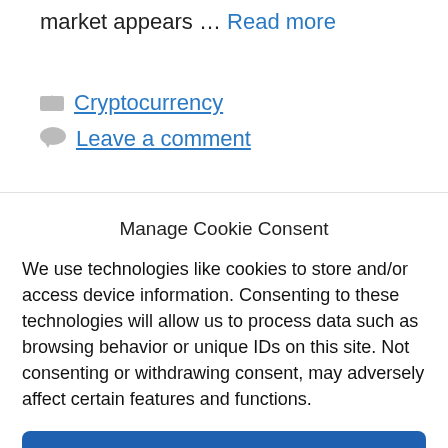market appears … Read more
Cryptocurrency
Leave a comment
Manage Cookie Consent
We use technologies like cookies to store and/or access device information. Consenting to these technologies will allow us to process data such as browsing behavior or unique IDs on this site. Not consenting or withdrawing consent, may adversely affect certain features and functions.
Accept
Cookie Policy